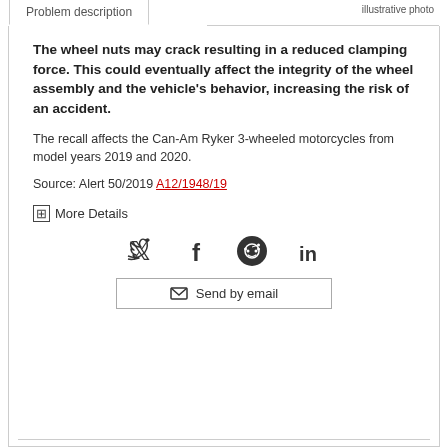illustrative photo
Problem description
The wheel nuts may crack resulting in a reduced clamping force. This could eventually affect the integrity of the wheel assembly and the vehicle's behavior, increasing the risk of an accident.
The recall affects the Can-Am Ryker 3-wheeled motorcycles from model years 2019 and 2020.
Source: Alert 50/2019 A12/1948/19
⊞ More Details
[Figure (infographic): Social sharing icons: Twitter bird, Facebook f, Reddit alien circle, LinkedIn in, and a Send by email button]